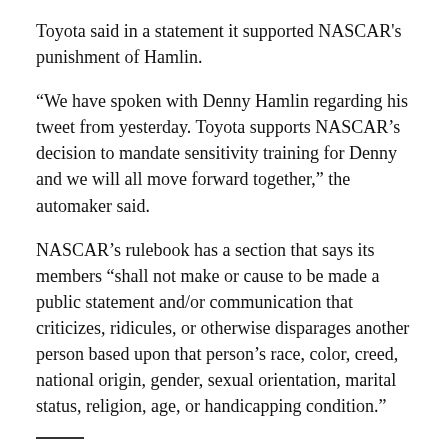Toyota said in a statement it supported NASCAR's punishment of Hamlin.
“We have spoken with Denny Hamlin regarding his tweet from yesterday. Toyota supports NASCAR’s decision to mandate sensitivity training for Denny and we will all move forward together,” the automaker said.
NASCAR’s rulebook has a section that says its members “shall not make or cause to be made a public statement and/or communication that criticizes, ridicules, or otherwise disparages another person based upon that person’s race, color, creed, national origin, gender, sexual orientation, marital status, religion, age, or handicapping condition.”
More AP auto racing: https://apnews.com/hub/auto-racing and https://twitter.com/AP_Sports